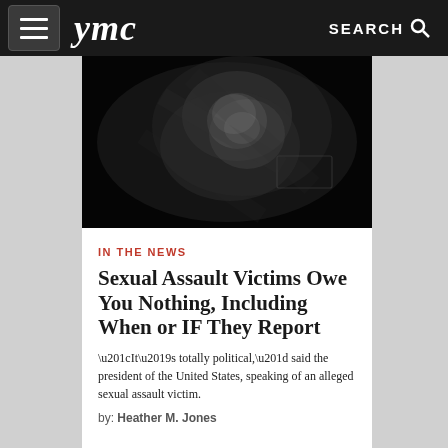ymc  SEARCH
[Figure (photo): Dark, blurry black-and-white photograph of a person's silhouette or face, mostly obscured in shadow]
IN THE NEWS
Sexual Assault Victims Owe You Nothing, Including When or IF They Report
“It’s totally political,” said the president of the United States, speaking of an alleged sexual assault victim.
by: Heather M. Jones